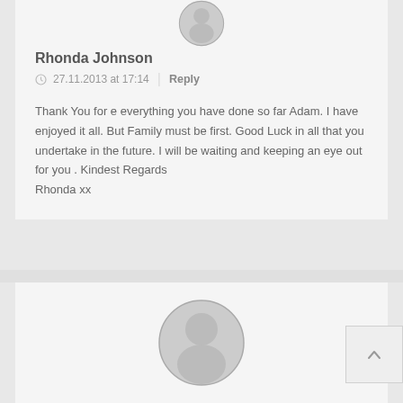[Figure (illustration): Circular avatar placeholder icon (grey silhouette of a person) at top of first comment block, partially cropped at top]
Rhonda Johnson
27.11.2013 at 17:14  |  Reply
Thank You for e everything you have done so far Adam. I have enjoyed it all. But Family must be first. Good Luck in all that you undertake in the future. I will be waiting and keeping an eye out for you . Kindest Regards
Rhonda xx
[Figure (illustration): Circular avatar placeholder icon (grey silhouette of a person) at top of second comment block]
[Figure (illustration): Scroll-to-top button with upward caret arrow, positioned at bottom right]